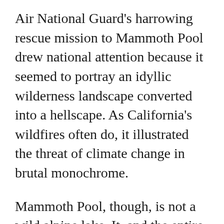Air National Guard's harrowing rescue mission to Mammoth Pool drew national attention because it seemed to portray an idyllic wilderness landscape converted into a hellscape. As California's wildfires often do, it illustrated the threat of climate change in brutal monochrome.

Mammoth Pool, though, is not a wild alpine lake. It, and the entire Upper San Joaquin River watershed, are pieces of an elaborately engineered series of dams, reservoirs, penstocks, and power plants known as the Big Creek Hydroelectric Project. Big Creek provides Southern California Edison